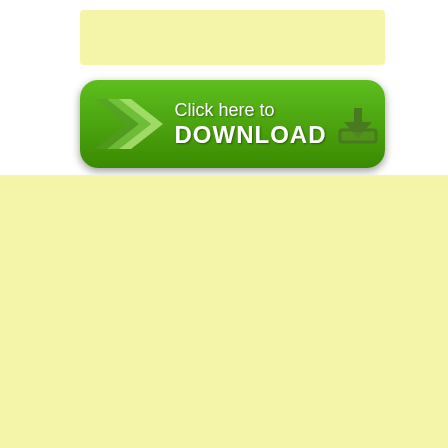[Figure (screenshot): A green rounded-rectangle download button with chevron arrows on the left, text 'Click here to DOWNLOAD' in the center, and a download icon on the right. Above the button is a pale yellow rectangle (placeholder/ad area). Below the button and occupying the lower half of the page is a large pale yellow area.]